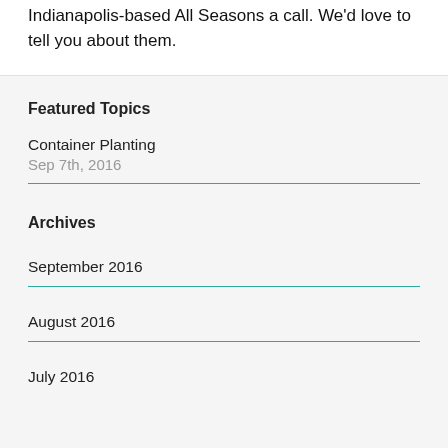Indianapolis-based All Seasons a call. We'd love to tell you about them.
Featured Topics
Container Planting
Sep 7th, 2016
Archives
September 2016
August 2016
July 2016